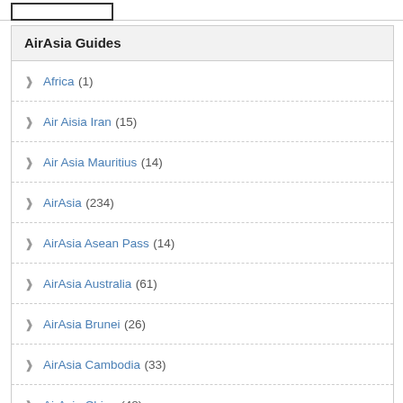AirAsia Guides
Africa (1)
Air Aisia Iran (15)
Air Asia Mauritius (14)
AirAsia (234)
AirAsia Asean Pass (14)
AirAsia Australia (61)
AirAsia Brunei (26)
AirAsia Cambodia (33)
AirAsia China (48)
AirAsia Chinese New Year BIG SALE (13)
AirAsia Credit Card (26)
AirAsia Free Seats (15)
AirAsia Guide (47)